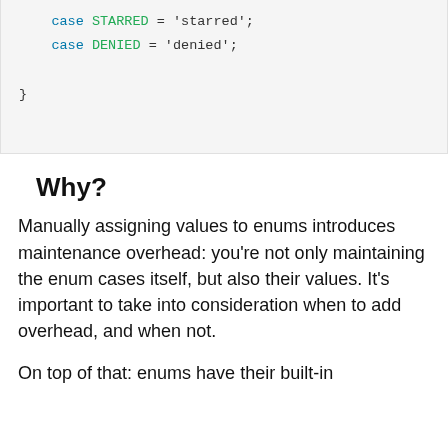[Figure (screenshot): Code block showing enum cases: 'case STARRED = starred;' and 'case DENIED = denied;' followed by closing brace]
Why?
Manually assigning values to enums introduces maintenance overhead: you're not only maintaining the enum cases itself, but also their values. It's important to take into consideration when to add overhead, and when not.
On top of that: enums have their built-in